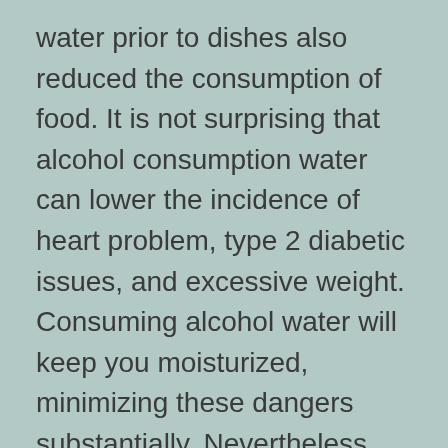water prior to dishes also reduced the consumption of food. It is not surprising that alcohol consumption water can lower the incidence of heart problem, type 2 diabetic issues, and excessive weight. Consuming alcohol water will keep you moisturized, minimizing these dangers substantially. Nevertheless, there are lots of various other health benefits of water. You will not believe just how useful it can be for your body.
While drinking water can reduce weight and help you lose weight, it will not transform your eating habits if you're eating poorly. For weight